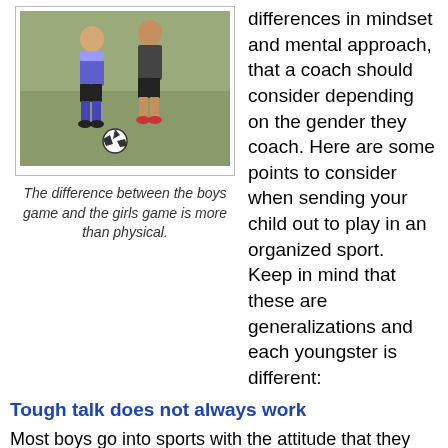[Figure (photo): Two young soccer players standing on a field, one wearing blue uniform with blue socks, the other in dark uniform, with a soccer ball at their feet.]
The difference between the boys game and the girls game is more than physical.
differences in mindset and mental approach, that a coach should consider depending on the gender they coach. Here are some points to consider when sending your child out to play in an organized sport.  Keep in mind that these are generalizations and each youngster is different:
Tough talk does not always work
Most boys go into sports with the attitude that they are the next LeBron James or Albert Pujols.  That can be an embraceable attitude; however, what can happen is that they shut off what a coach might be trying to teach them.  They can have a ‘you’re not going to tell me something I don’t already know’ mentality, which can be a challenge as